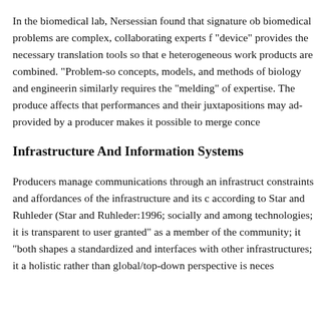In the biomedical lab, Nersessian found that signature ob... biomedical problems are complex, collaborating experts f... "device" provides the necessary translation tools so that e... heterogeneous work products are combined. "Problem-so... concepts, models, and methods of biology and engineerin... similarly requires the "melding" of expertise. The produce... affects that performances and their juxtapositions may ad... provided by a producer makes it possible to merge conce...
Infrastructure And Information Systems
Producers manage communications through an infrastruct... constraints and affordances of the infrastructure and its c... according to Star and Ruhleder (Star and Ruhleder:1996;... socially and among technologies; it is transparent to user... granted" as a member of the community; it "both shapes a... standardized and interfaces with other infrastructures; it a... holistic rather than global/top-down perspective is neces...